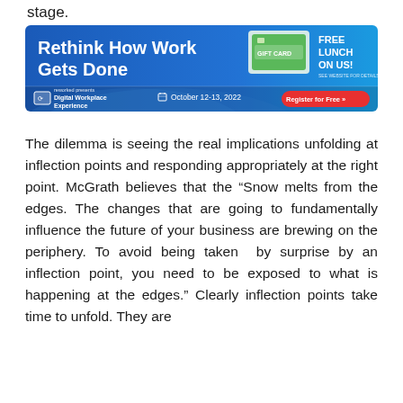stage.
[Figure (infographic): Advertisement banner for Digital Workplace Experience event. Blue background with bold white text 'Rethink How Work Gets Done'. Shows a gift card image with 'FREE LUNCH ON US!' text. Bottom section shows 'reworked presents Digital Workplace Experience' logo, calendar icon with 'October 12-13, 2022', and a red 'Register for Free >>' button.]
The dilemma is seeing the real implications unfolding at inflection points and responding appropriately at the right point. McGrath believes that the "Snow melts from the edges. The changes that are going to fundamentally influence the future of your business are brewing on the periphery. To avoid being taken  by surprise by an inflection point, you need to be exposed to what is happening at the edges." Clearly inflection points take time to unfold. They are